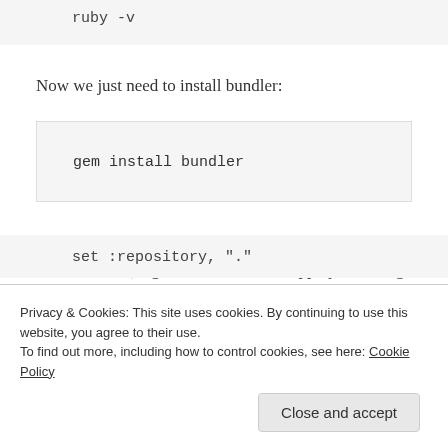ruby -v
Now we just need to install bundler:
gem install bundler
With bundler installed we'll need to copy the code over to the device (or generate a new rails app by installing the rails gem and running the generator). You could easily do this yourself using scp or a similar tool but I
set :repository,  "."
Privacy & Cookies: This site uses cookies. By continuing to use this website, you agree to their use.
To find out more, including how to control cookies, see here: Cookie Policy